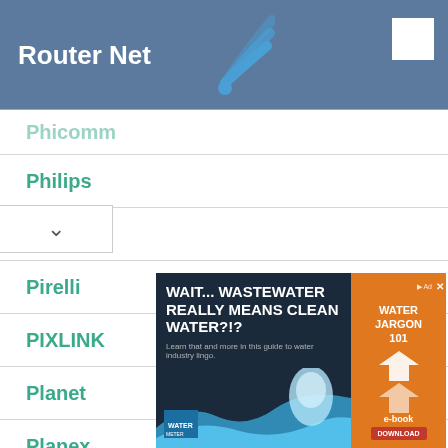Router Net
Phicomm
Philips
Pioneer
Pirelli
PIXLINK
Planet
Planex
Plume
...ay
[Figure (screenshot): Advertisement banner: 'WAIT... WASTEWATER REALLY MEANS CLEAN WATER?!?' with water imagery and orange sidebar reading 'WATER JARGON 101' with e-book download button]